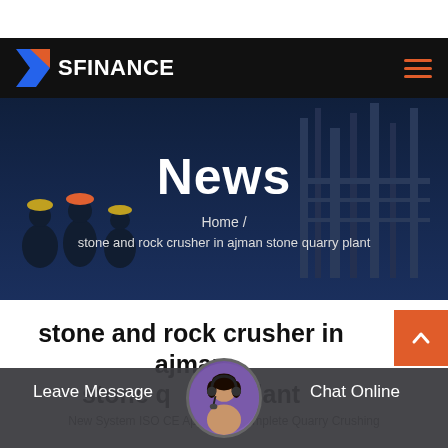[Figure (logo): SFINANCE logo with stylized F icon in blue and orange on black navbar]
[Figure (photo): Hero banner with dark overlay showing construction workers and industrial facility in background. Title 'News' with breadcrumb 'Home / stone and rock crusher in ajman stone quarry plant']
stone and rock crusher in ajman stone quarry plant
New System ISO CE Approved Complete Quarry Crushing
[Figure (photo): Customer service agent photo in circular frame, chat bar with Leave Message and Chat Online options]